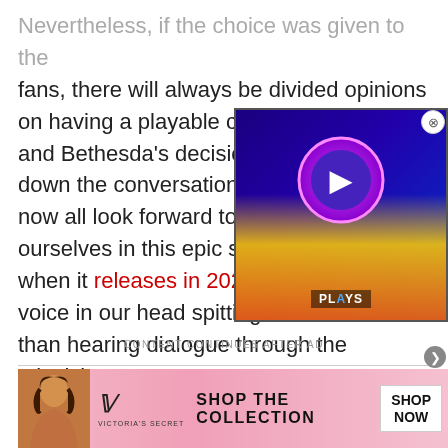Nevertheless, if the choice was given to the fans, there will always be divided opinions on having a playable cha[racter] and Bethesda's decision [to] down the conversation [and we] now all look forward to further immersing ourselves in this epic space-faring game when it releases in 2023, and having that voice in our head spitting out lines rather than hearing dialogue through the television.
[Figure (screenshot): PlayStation video widget overlay showing PS logo (white circle with PlayStation symbol on purple background) with fire/flame effects at bottom and 'PLAYS' label, with close (X) button in top right corner.]
CONTENT CONTINUES AFTER AD
[Figure (photo): Victoria's Secret advertisement banner showing a woman with curly hair on a pink background, VS logo, text 'SHOP THE COLLECTION' and 'SHOP NOW' button.]